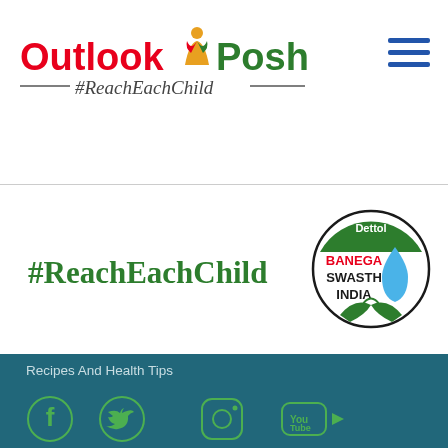[Figure (logo): Outlook Poshan 2.0 #ReachEachChild logo with red 'Outlook', green 'Poshan2.0', hashtag tagline, and flame icon]
[Figure (logo): Hamburger menu icon (three horizontal blue lines)]
#ReachEachChild
[Figure (logo): Dettol Banega Swasth India circular logo with water drop and green leaves]
Recipes And Health Tips
Videos
Photos
[Figure (infographic): Social media icons: Facebook (green f), Twitter (green bird), Instagram (green camera), YouTube (green play button)]